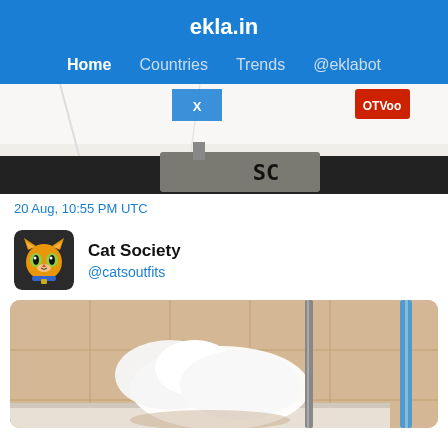ekla.in
Home  Countries  Trends  @eklabot
[Figure (photo): Partial photo showing a white banner/cloth with a dark clapperboard or sign below displaying 'SC', and a red logo in top right corner]
20 Aug, 10:55 PM UTC
[Figure (illustration): Avatar for Cat Society account: animated cartoon orange cat with big eyes wearing a collar]
Cat Society
@catsoutfits
[Figure (photo): Photo of a white cat in a bathtub or bathroom setting, with blue and beige tiles visible in the background]